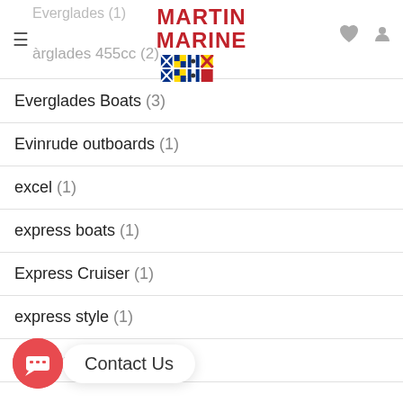Martin Marine header with logo and navigation icons
Everglades (1) [partial, truncated at top]
Everglades 455cc (2)
Everglades Boats (3)
Evinrude outboards (1)
excel (1)
express boats (1)
Express Cruiser (1)
express style (1)
express yacht (1)
facebook (1)
fal... (partial, overlapped by chat)
fall (2)